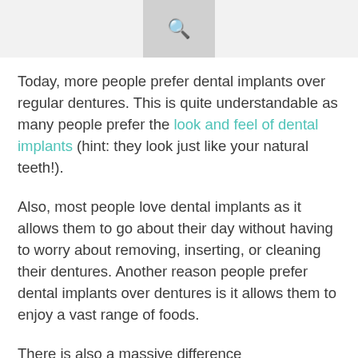🔍
Today, more people prefer dental implants over regular dentures. This is quite understandable as many people prefer the look and feel of dental implants (hint: they look just like your natural teeth!).
Also, most people love dental implants as it allows them to go about their day without having to worry about removing, inserting, or cleaning their dentures. Another reason people prefer dental implants over dentures is it allows them to enjoy a vast range of foods.
There is also a massive difference